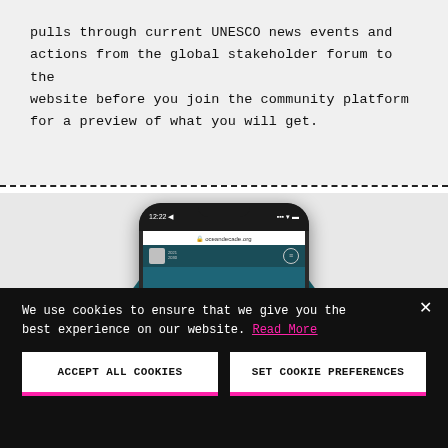pulls through current UNESCO news events and actions from the global stakeholder forum to the website before you join the community platform for a preview of what you will get.
[Figure (screenshot): A smartphone displaying the oceandecade.org website ACTIONS page with 'Meet all the endorsed Ocean Decade Actions' text, shown against a teal circular background.]
We use cookies to ensure that we give you the best experience on our website. Read More
ACCEPT ALL COOKIES
SET COOKIE PREFERENCES